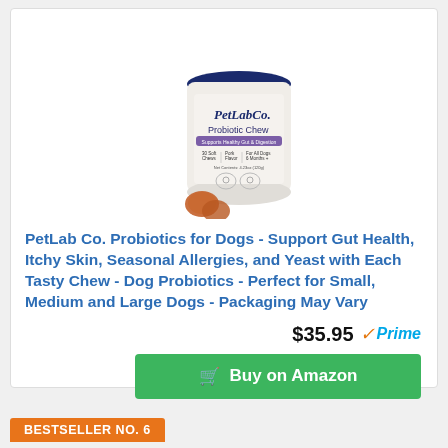[Figure (photo): PetLab Co. Probiotic Chew product container (white cylindrical tub with navy blue lid, dog's face illustration and two chew treats in front)]
PetLab Co. Probiotics for Dogs - Support Gut Health, Itchy Skin, Seasonal Allergies, and Yeast with Each Tasty Chew - Dog Probiotics - Perfect for Small, Medium and Large Dogs - Packaging May Vary
$35.95 Prime
Buy on Amazon
BESTSELLER NO. 6